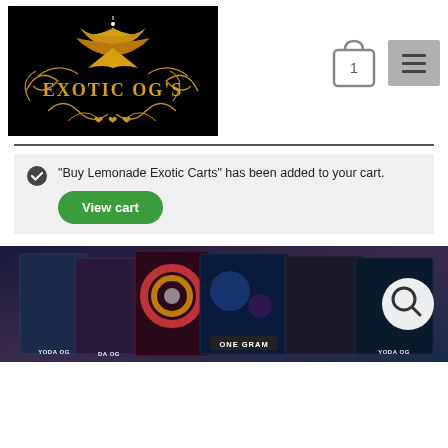[Figure (logo): Exotic OG's dispensary logo — golden cannabis leaf on black background with decorative gold swirl design and text 'EXOTIC OG'S']
[Figure (other): Shopping cart icon with number 1 and hamburger menu button]
“Buy Lemonade Exotic Carts” has been added to your cart.
View cart
[Figure (photo): Product photo showing multiple Yoda OG and One Gram exotic cart packages with colorful packaging on dark background, with a search magnifier icon overlay]